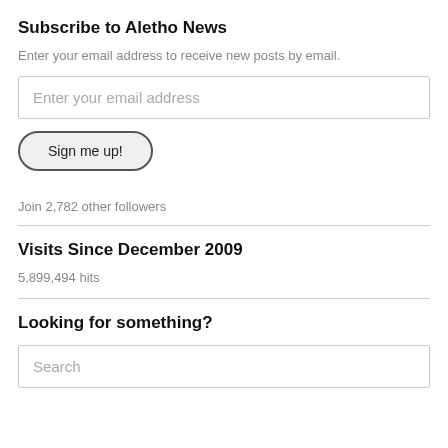Subscribe to Aletho News
Enter your email address to receive new posts by email.
Enter your email address
Sign me up!
Join 2,782 other followers
Visits Since December 2009
5,899,494 hits
Looking for something?
Search